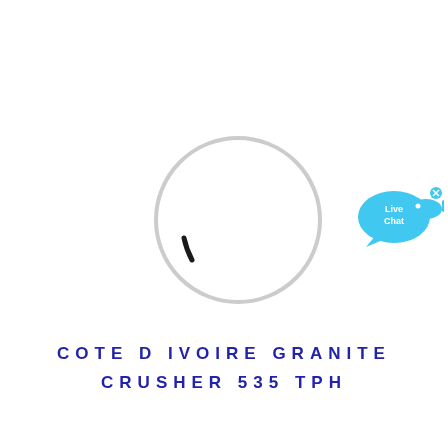[Figure (other): A loading spinner circle: thin light gray ring with a short black arc segment on the left-bottom portion, indicating a loading animation state.]
[Figure (other): Live Chat widget: a cyan/light blue speech bubble with 'Live Chat' text in white, accompanied by a small cyan fish icon, and an 'x' close button in the top-right corner.]
COTE D IVOIRE GRANITE CRUSHER 535 TPH